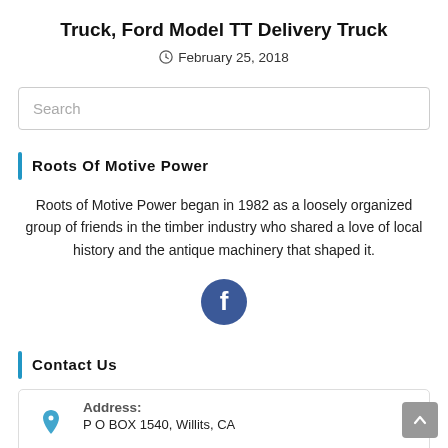Truck, Ford Model TT Delivery Truck
February 25, 2018
[Figure (other): Search input box]
Roots Of Motive Power
Roots of Motive Power began in 1982 as a loosely organized group of friends in the timber industry who shared a love of local history and the antique machinery that shaped it.
[Figure (logo): Facebook circular icon button, dark blue background with white Facebook 'f' logo]
Contact Us
Address: P O BOX 1540, Willits, CA